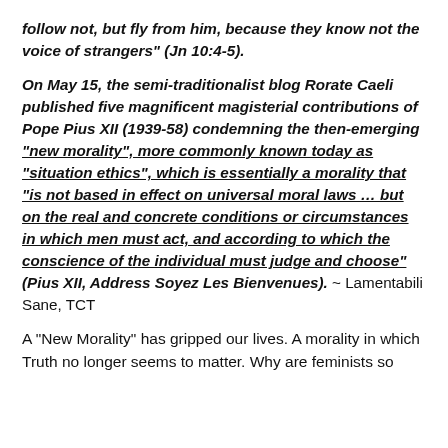follow not, but fly from him, because they know not the voice of strangers" (Jn 10:4-5).
On May 15, the semi-traditionalist blog Rorate Caeli published five magnificent magisterial contributions of Pope Pius XII (1939-58) condemning the then-emerging "new morality", more commonly known today as "situation ethics", which is essentially a morality that "is not based in effect on universal moral laws … but on the real and concrete conditions or circumstances in which men must act, and according to which the conscience of the individual must judge and choose" (Pius XII, Address Soyez Les Bienvenues). ~ Lamentabili Sane, TCT
A "New Morality" has gripped our lives. A morality in which Truth no longer seems to matter. Why are feminists so